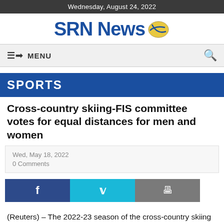Wednesday, August 24, 2022
SRN News
≡+ MENU
SPORTS
Cross-country skiing-FIS committee votes for equal distances for men and women
Wed, May 18, 2022
0 Comments
(Reuters) – The 2022-23 season of the cross-country skiing World Cup will see men and women race across equal distances, the International Ski Federation (FIS) said on